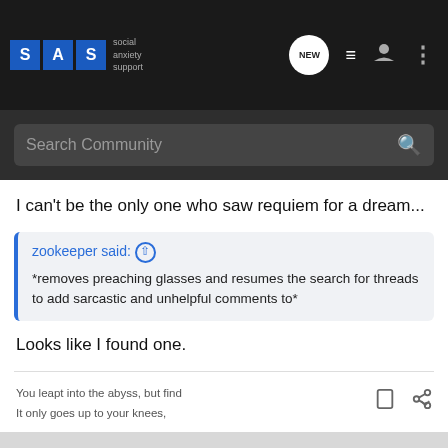[Figure (screenshot): Social Anxiety Support (SAS) forum website header with logo and navigation icons including NEW message bubble, list, user, and more icons]
[Figure (screenshot): Search Community search bar on dark background]
I can't be the only one who saw requiem for a dream...
zookeeper said: ⊕
*removes preaching glasses and resumes the search for threads to add sarcastic and unhelpful comments to*
Looks like I found one.
You leapt into the abyss, but find
It only goes up to your knees,